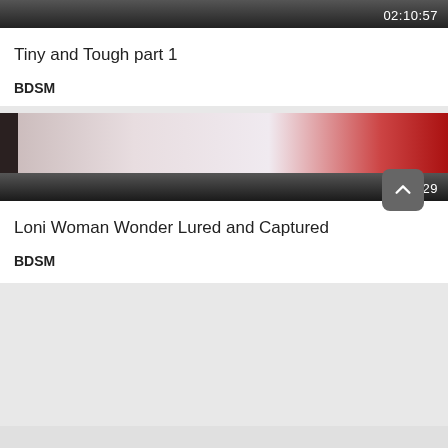[Figure (screenshot): Video thumbnail with dark gradient bar showing duration 02:10:57]
Tiny and Tough part 1
BDSM
[Figure (screenshot): Video thumbnail showing a scene with a person in white and red gloves, with dark gradient bar showing duration 02:27:29]
Loni Woman Wonder Lured and Captured
BDSM